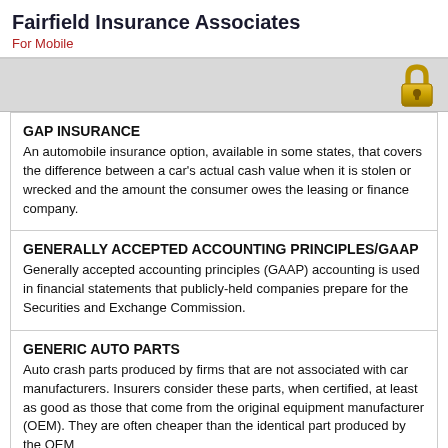Fairfield Insurance Associates
For Mobile
GAP INSURANCE
An automobile insurance option, available in some states, that covers the difference between a car's actual cash value when it is stolen or wrecked and the amount the consumer owes the leasing or finance company.
GENERALLY ACCEPTED ACCOUNTING PRINCIPLES/GAAP
Generally accepted accounting principles (GAAP) accounting is used in financial statements that publicly-held companies prepare for the Securities and Exchange Commission.
GENERIC AUTO PARTS
Auto crash parts produced by firms that are not associated with car manufacturers. Insurers consider these parts, when certified, at least as good as those that come from the original equipment manufacturer (OEM). They are often cheaper than the identical part produced by the OEM
GLASS INSURANCE
Coverage for glass breakage caused by all risks; fire and war are sometimes excluded. Insurance can be bought for windows, structural glass, leaded glass, and mirrors. Available with or without a deductible